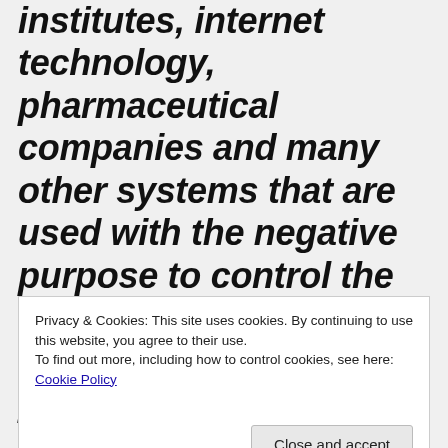institutes, internet technology, pharmaceutical companies and many other systems that are used with the negative purpose to control the human collective consciousness via perceptions of reality from the astral and 3D matter planes. Effectively, what has been revealed is that the same massive
Privacy & Cookies: This site uses cookies. By continuing to use this website, you agree to their use.
To find out more, including how to control cookies, see here: Cookie Policy
mongering human and nonhuman